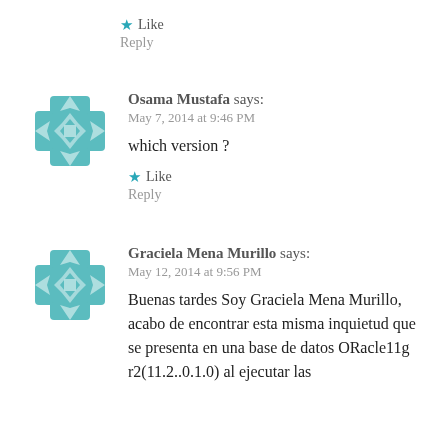★ Like
Reply
[Figure (illustration): Teal decorative geometric avatar for Osama Mustafa]
Osama Mustafa says:
May 7, 2014 at 9:46 PM
which version ?
★ Like
Reply
[Figure (illustration): Teal decorative geometric avatar for Graciela Mena Murillo]
Graciela Mena Murillo says:
May 12, 2014 at 9:56 PM
Buenas tardes Soy Graciela Mena Murillo, acabo de encontrar esta misma inquietud que se presenta en una base de datos ORacle11g r2(11.2..0.1.0) al ejecutar las